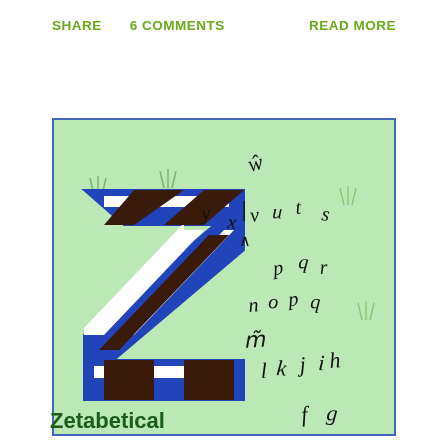SHARE   6 COMMENTS   READ MORE
[Figure (illustration): Illustrated book cover or artwork showing a large decorative letter Z in black, white and blue stripes on a light green background, with scattered lowercase alphabet letters (y, x, w, v, u, t, s, r, q, p, o, n, m, l, k, j, i, h, f, g) floating around the Z, and small grass tufts throughout.]
Zetabetical